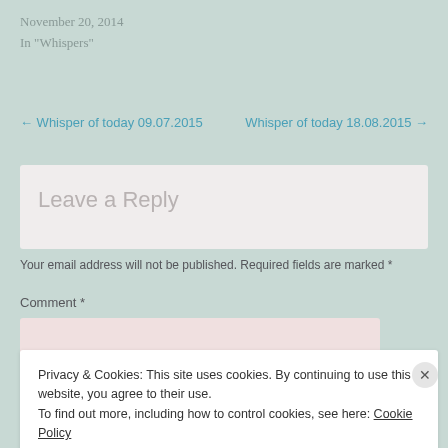November 20, 2014
In "Whispers"
← Whisper of today 09.07.2015   Whisper of today 18.08.2015 →
Leave a Reply
Your email address will not be published. Required fields are marked *
Comment *
Privacy & Cookies: This site uses cookies. By continuing to use this website, you agree to their use.
To find out more, including how to control cookies, see here: Cookie Policy
Close and accept